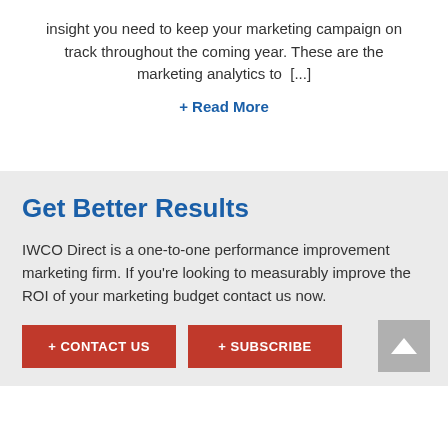insight you need to keep your marketing campaign on track throughout the coming year. These are the marketing analytics to  [...]
+ Read More
Get Better Results
IWCO Direct is a one-to-one performance improvement marketing firm. If you’re looking to measurably improve the ROI of your marketing budget contact us now.
+ CONTACT US
+ SUBSCRIBE